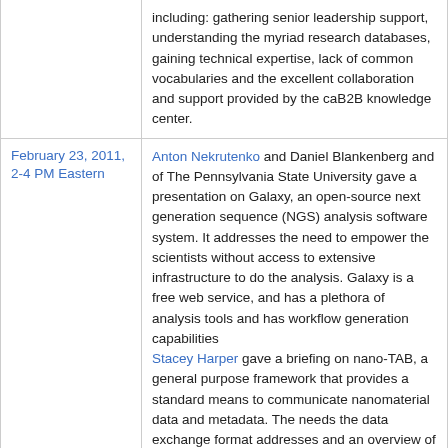| Date | Description |
| --- | --- |
|  | including: gathering senior leadership support, understanding the myriad research databases, gaining technical expertise, lack of common vocabularies and the excellent collaboration and support provided by the caB2B knowledge center. |
| February 23, 2011, 2-4 PM Eastern | Anton Nekrutenko and Daniel Blankenberg and of The Pennsylvania State University gave a presentation on Galaxy, an open-source next generation sequence (NGS) analysis software system. It addresses the need to empower the scientists without access to extensive infrastructure to do the analysis. Galaxy is a free web service, and has a plethora of analysis tools and has workflow generation capabilities
Stacey Harper gave a briefing on nano-TAB, a general purpose framework that provides a standard means to communicate nanomaterial data and metadata. The needs the data exchange format addresses and an overview of the file structure were discussed. |
| February 14, 2011, 2-4 PM Eastern | caArray Users Meeting featured upcoming plugin architecture for support the addition of new parsers and data storage mechanisms. |